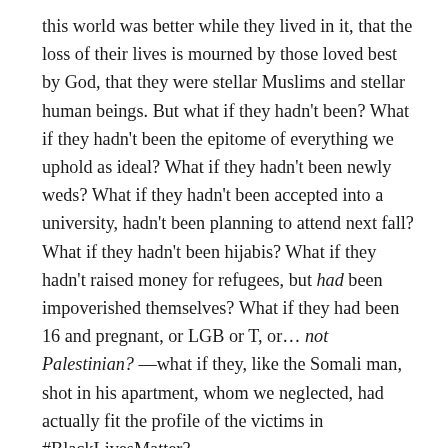this world was better while they lived in it, that the loss of their lives is mourned by those loved best by God, that they were stellar Muslims and stellar human beings. But what if they hadn't been? What if they hadn't been the epitome of everything we uphold as ideal? What if they hadn't been newly weds? What if they hadn't been accepted into a university, hadn't been planning to attend next fall? What if they hadn't been hijabis? What if they hadn't raised money for refugees, but had been impoverished themselves? What if they had been 16 and pregnant, or LGB or T, or... not Palestinian? —what if they, like the Somali man, shot in his apartment, whom we neglected, had actually fit the profile of the victims in #BlackLivesMatter?